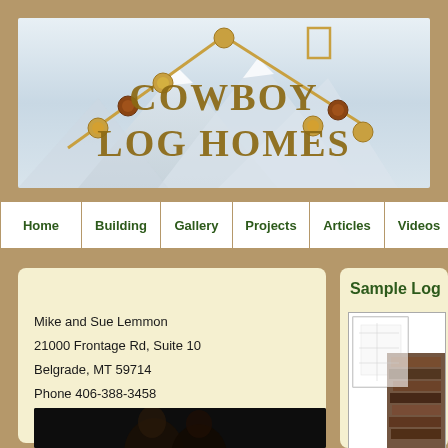[Figure (logo): Cowboy Log Homes logo with house outline made of logs/beads, mountain background, text 'COWBOY LOG HOMES']
Home | Building | Gallery | Projects | Articles | Videos
CONTACT US
Mike and Sue Lemmon
21000 Frontage Rd, Suite 10
Belgrade, MT 59714
Phone 406-388-3458
[Figure (photo): Photo of a couple (Mike and Sue Lemmon) against dark background]
Sample Log
[Figure (photo): Sample log home floor plan or image showing stone/log textures]